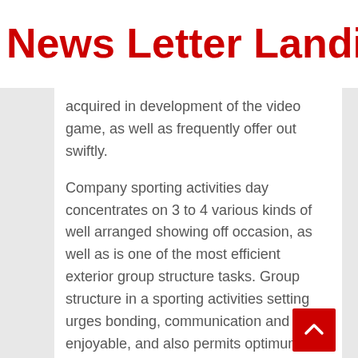News Letter Landing Pag
acquired in development of the video game, as well as frequently offer out swiftly.
Company sporting activities day concentrates on 3 to 4 various kinds of well arranged showing off occasion, as well as is one of the most efficient exterior group structure tasks. Group structure in a sporting activities setting urges bonding, communication and also enjoyable, and also permits optimum engagement by all included.
These sporting activities occasion can be made a lot more intriguing by developing